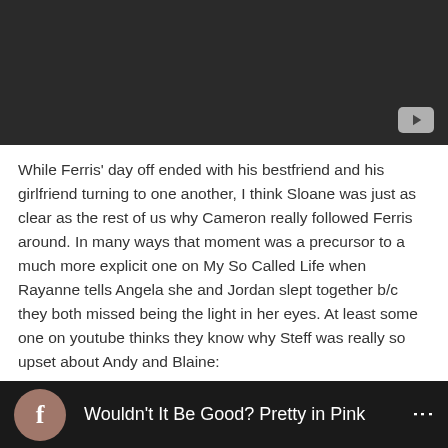[Figure (screenshot): Dark video player with a YouTube play button icon in the bottom right corner]
While Ferris' day off ended with his bestfriend and his girlfriend turning to one another, I think Sloane was just as clear as the rest of us why Cameron really followed Ferris around. In many ways that moment was a precursor to a much more explicit one on My So Called Life when Rayanne tells Angela she and Jordan slept together b/c they both missed being the light in her eyes. At least some one on youtube thinks they know why Steff was really so upset about Andy and Blaine:
[Figure (screenshot): Facebook video bar showing 'Wouldn't It Be Good? Pretty in Pink' with a circular avatar icon on the left and three-dot menu on the right]